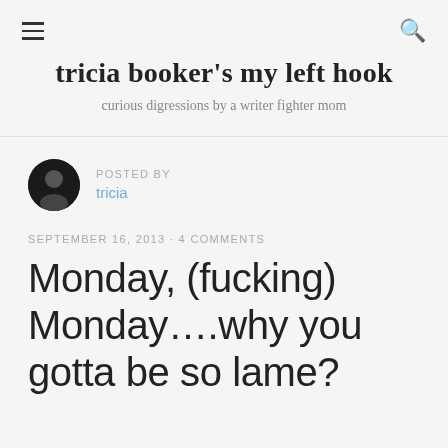tricia booker's my left hook
curious digressions by a writer fighter mom
POSTED BY
tricia
SEPTEMBER 16, 2013 · 4 COMMENTS
Monday, (fucking) Monday….why you gotta be so lame?